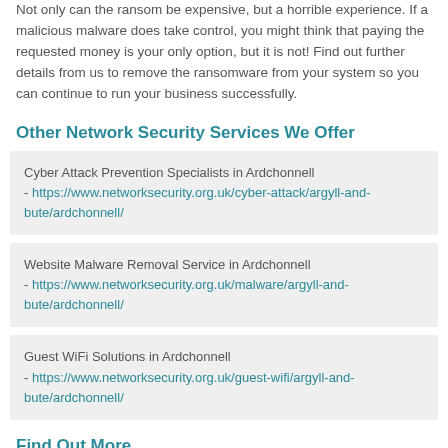Not only can the ransom be expensive, but a horrible experience. If a malicious malware does take control, you might think that paying the requested money is your only option, but it is not! Find out further details from us to remove the ransomware from your system so you can continue to run your business successfully.
Other Network Security Services We Offer
Cyber Attack Prevention Specialists in Ardchonnell - https://www.networksecurity.org.uk/cyber-attack/argyll-and-bute/ardchonnell/
Website Malware Removal Service in Ardchonnell - https://www.networksecurity.org.uk/malware/argyll-and-bute/ardchonnell/
Guest WiFi Solutions in Ardchonnell - https://www.networksecurity.org.uk/guest-wifi/argyll-and-bute/ardchonnell/
Find Out More